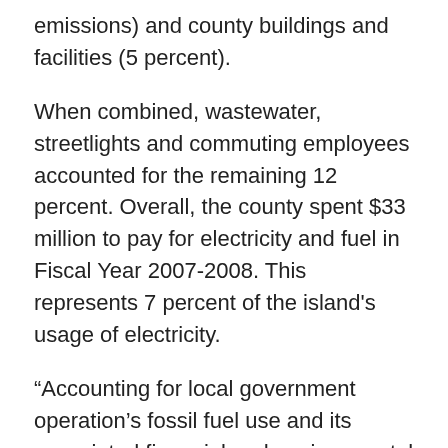emissions) and county buildings and facilities (5 percent).
When combined, wastewater, streetlights and commuting employees accounted for the remaining 12 percent. Overall, the county spent $33 million to pay for electricity and fuel in Fiscal Year 2007-2008. This represents 7 percent of the island's usage of electricity.
“Accounting for local government operation’s fossil fuel use and its associated financial and environmental costs are the first step to understand local government’s contribution to